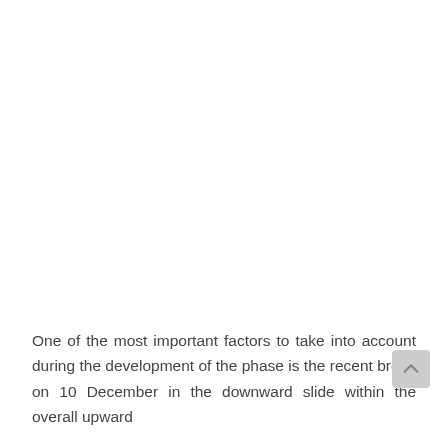One of the most important factors to take into account during the development of the phase is the recent break on 10 December in the downward slide within the overall upward